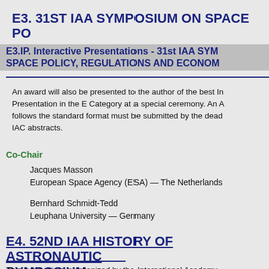E3. 31ST IAA SYMPOSIUM ON SPACE POLICY, REGULATIONS AND ECONOMICS
E3.IP. Interactive Presentations - 31st IAA SYMPOSIUM ON SPACE POLICY, REGULATIONS AND ECONOMICS
An award will also be presented to the author of the best Interactive Presentation in the E Category at a special ceremony. An Abstract that follows the standard format must be submitted by the deadline for IAC abstracts.
Co-Chair
Jacques Masson
European Space Agency (ESA) — The Netherlands
Bernhard Schmidt-Tedd
Leuphana University — Germany
E4. 52ND IAA HISTORY OF ASTRONAUTICS SYMPOSIUM
This symposium is organized by the International Academy of Astronautics (IAA). History of space science, technology & development, biography, personal memoirs. The entire spectrum of space history, ancient and new old, is covered, as well as history of rocketry and astronautics.